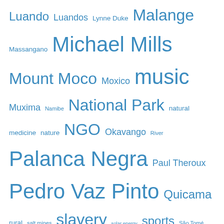Luando Luandos Lynne Duke Malange Massangano Michael Mills Mount Moco Moxico music Muxima Namibe National Park natural medicine nature NGO Okavango River Palanca Negra Paul Theroux Pedro Vaz Pinto Quicama rural salt mines slavery solar energy sports São Tomé train turtles UNHCR UNITA urbanization war water women
Blogroll
Action for Natural Medicine
Angola Field Group on YouTube
Angola Mosquito Net Project
Angola Photos on SkyscraperCity
Birds Angola
Campanha Reviver: Reviver o Património da Cidade de Luanda